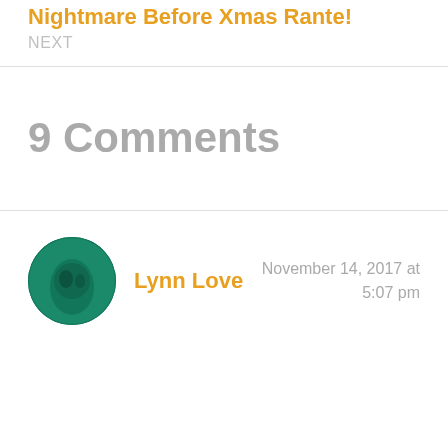Nightmare Before Xmas Rante!
NEXT
9 Comments
Lynn Love
November 14, 2017 at 5:07 pm